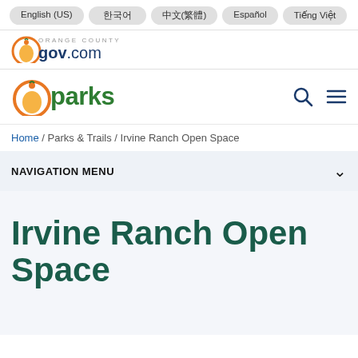English (US) | 한국어 | 中文(繁體) | Español | Tiếng Việt
[Figure (logo): ocgov.com Orange County logo with orange circle and dark blue text]
[Figure (logo): OC Parks logo with orange circle and green 'parks' text, plus search and menu icons]
Home / Parks & Trails / Irvine Ranch Open Space
NAVIGATION MENU
Irvine Ranch Open Space